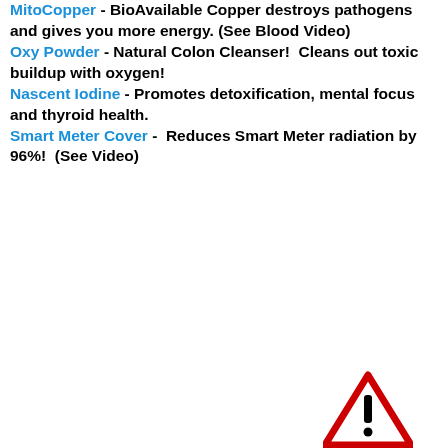MitoCopper - BioAvailable Copper destroys pathogens and gives you more energy. (See Blood Video)
Oxy Powder - Natural Colon Cleanser!  Cleans out toxic buildup with oxygen!
Nascent Iodine - Promotes detoxification, mental focus and thyroid health.
Smart Meter Cover -  Reduces Smart Meter radiation by 96%!  (See Video)
[Figure (illustration): Warning triangle icon (red outline triangle with exclamation mark) with text 'Report Abuse' below it.]